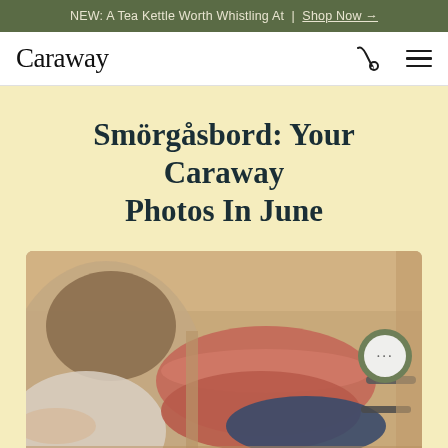NEW: A Tea Kettle Worth Whistling At | Shop Now →
Caraway
Smörgåsbord: Your Caraway Photos In June
[Figure (photo): A person unpacking or organizing Caraway cookware (pink and navy pots and pans) inside a cardboard box, viewed from behind/above.]